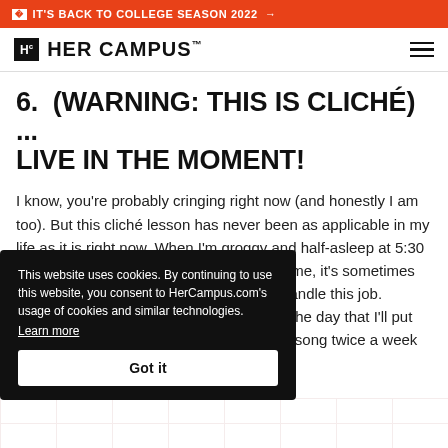IT'S BACK TO COLLEGE SEASON 2022 →
[Figure (logo): Her Campus logo with Hc icon and text HER CAMPUS]
6.  (WARNING: THIS IS CLICHÉ) ... LIVE IN THE MOMENT!
I know, you're probably cringing right now (and honestly I am too). But this cliché lesson has never been as applicable in my life as it is right now. When I'm groggy and half-asleep at 5:30 a.m. with over 16 hours of work ahead of me, it's sometimes hard to remember why I thought I could handle this job. However, as closer to ending my summer he day that I'll put my red evastating to know that one y out" song twice a week with how I will feel during the last
This website uses cookies. By continuing to use this website, you consent to HerCampus.com's usage of cookies and similar technologies. Learn more Got it